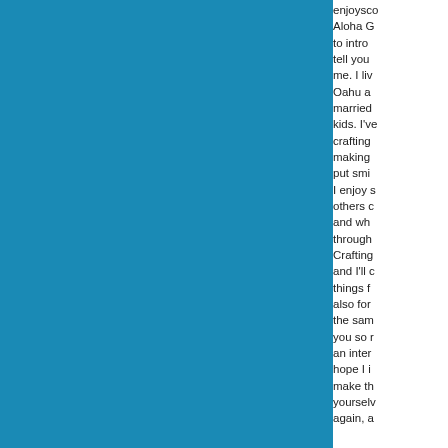enjoysc Aloha G to intro tell you me. I liv Oahu a married kids. I've crafting making put smi I enjoy s others c and wh through Crafting and I'll c things f also for the sam you so r an inter hope I i make th yoursel again, a